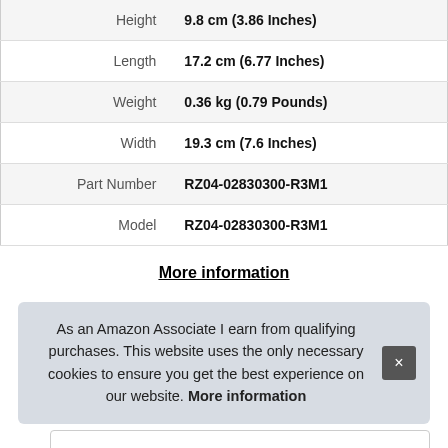| Attribute | Value |
| --- | --- |
| Height | 9.8 cm (3.86 Inches) |
| Length | 17.2 cm (6.77 Inches) |
| Weight | 0.36 kg (0.79 Pounds) |
| Width | 19.3 cm (7.6 Inches) |
| Part Number | RZ04-02830300-R3M1 |
| Model | RZ04-02830300-R3M1 |
More information
2.
As an Amazon Associate I earn from qualifying purchases. This website uses the only necessary cookies to ensure you get the best experience on our website. More information